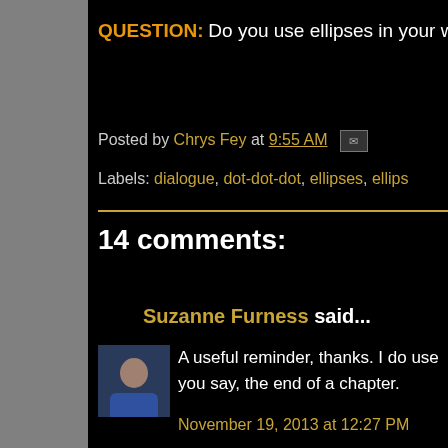QUESTION: Do you use ellipses in your writing
Posted by Chrys Fey at 9:55 AM
Labels: dialogue, dot-dot-dot, ellipses, ellips...
14 comments:
Suzanne Furness said...
A useful reminder, thanks. I do use you say, the end of a chapter.
November 19, 2013 at 12:27 PM